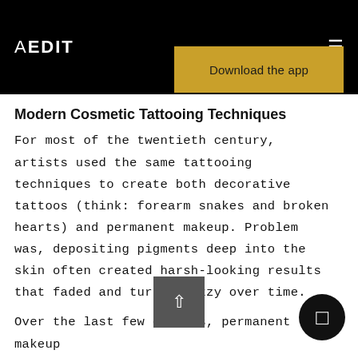AEDIT
[Figure (other): Download the app button (gold/yellow background)]
Modern Cosmetic Tattooing Techniques
For most of the twentieth century, artists used the same tattooing techniques to create both decorative tattoos (think: forearm snakes and broken hearts) and permanent makeup. Problem was, depositing pigments deep into the skin often created harsh-looking results that faded and turned fuzzy over time.
Over the last few decades, permanent makeup